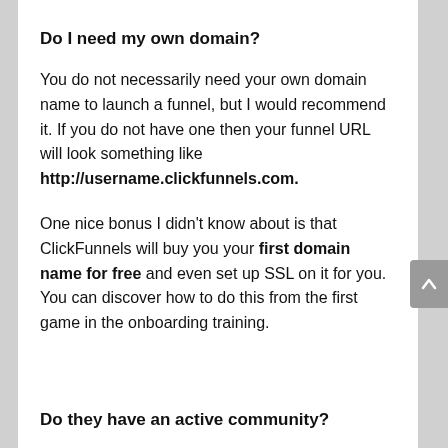Do I need my own domain?
You do not necessarily need your own domain name to launch a funnel, but I would recommend it. If you do not have one then your funnel URL will look something like http://username.clickfunnels.com.
One nice bonus I didn't know about is that ClickFunnels will buy you your first domain name for free and even set up SSL on it for you. You can discover how to do this from the first game in the onboarding training.
Do they have an active community?